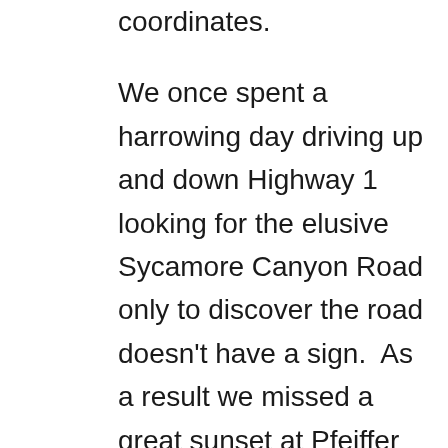coordinates.

We once spent a harrowing day driving up and down Highway 1 looking for the elusive Sycamore Canyon Road only to discover the road doesn't have a sign.  As a result we missed a great sunset at Pfeiffer Beach in Big Sur.  If only we'd taken the GPS coordinates.  You can read all about that fun adventure here.  Just don't make any assumptions.  Get